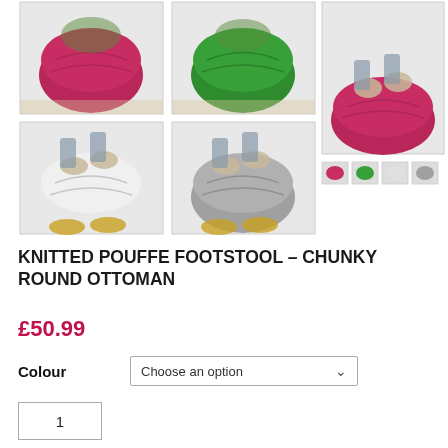[Figure (photo): Product image grid showing knitted pouffe footstools in various colors: pink/magenta, green, magenta (with feet), white (with feet), grey (with feet). Arranged in 2 rows of 2 large thumbnails plus 1 large main image on the right and small thumbnails below it.]
KNITTED POUFFE FOOTSTOOL – CHUNKY ROUND OTTOMAN
£50.99
Colour  Choose an option
1